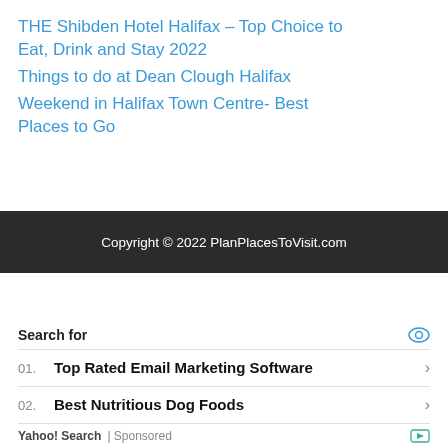THE Shibden Hotel Halifax – Top Choice to Eat, Drink and Stay 2022
Things to do at Dean Clough Halifax
Weekend in Halifax Town Centre- Best Places to Go
Copyright © 2022 PlanPlacesToVisit.com
Search for
01. Top Rated Email Marketing Software
02. Best Nutritious Dog Foods
Yahoo! Search | Sponsored